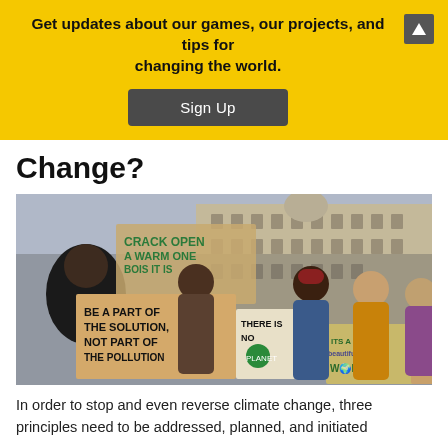Get updates about our games, our projects, and tips for changing the world.
Change?
[Figure (photo): Young people at a climate change protest holding signs including 'Be a part of the solution, not part of the pollution', 'There is no planet B', 'It's a beautiful world', 'Crack open a warm one with the boys', and 'Climate change isn't' in front of a large historic building.]
In order to stop and even reverse climate change, three principles need to be addressed, planned, and initiated